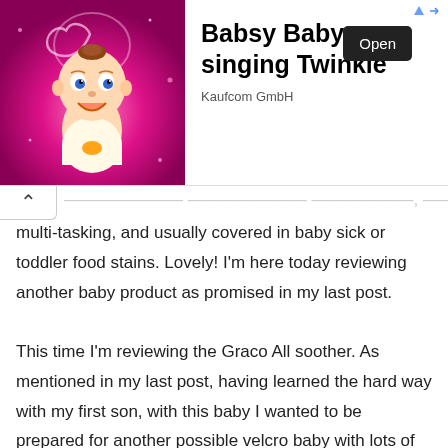[Figure (other): Advertisement banner for 'Babsy Baby singing Twinkle' by Kaufcom GmbH, showing a cartoon baby on a pink sparkly background with an Open button]
multi-tasking, and usually covered in baby sick or toddler food stains. Lovely! I'm here today reviewing another baby product as promised in my last post.

This time I'm reviewing the Graco All soother. As mentioned in my last post, having learned the hard way with my first son, with this baby I wanted to be prepared for another possible velcro baby with lots of different soothers. We had a rough patch a few weeks ago during a developmental leap where baby 2 would not be put down at all and he all but lived in the sling